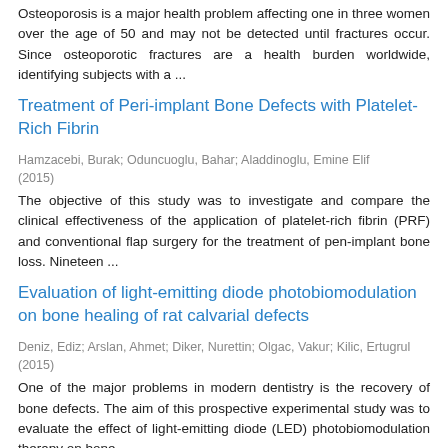Osteoporosis is a major health problem affecting one in three women over the age of 50 and may not be detected until fractures occur. Since osteoporotic fractures are a health burden worldwide, identifying subjects with a ...
Treatment of Peri-implant Bone Defects with Platelet-Rich Fibrin
Hamzacebi, Burak; Oduncuoglu, Bahar; Aladdinoglu, Emine Elif (2015)
The objective of this study was to investigate and compare the clinical effectiveness of the application of platelet-rich fibrin (PRF) and conventional flap surgery for the treatment of pen-implant bone loss. Nineteen ...
Evaluation of light-emitting diode photobiomodulation on bone healing of rat calvarial defects
Deniz, Ediz; Arslan, Ahmet; Diker, Nurettin; Olgac, Vakur; Kilic, Ertugrul (2015)
One of the major problems in modern dentistry is the recovery of bone defects. The aim of this prospective experimental study was to evaluate the effect of light-emitting diode (LED) photobiomodulation therapy on bone ...
Combined use of alveolar distraction, osteogenesis and ...